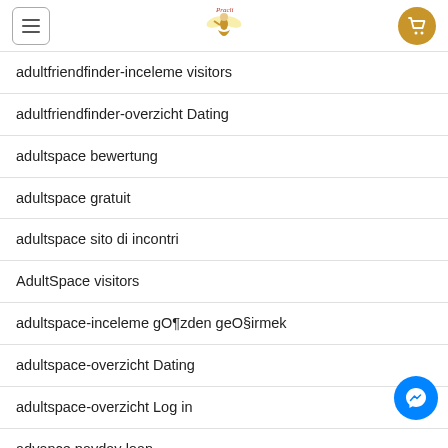Pracli logo with hamburger menu and cart
adultfriendfinder-inceleme visitors
adultfriendfinder-overzicht Dating
adultspace bewertung
adultspace gratuit
adultspace sito di incontri
AdultSpace visitors
adultspace-inceleme gözden geçirmek
adultspace-overzicht Dating
adultspace-overzicht Log in
advance payday loan